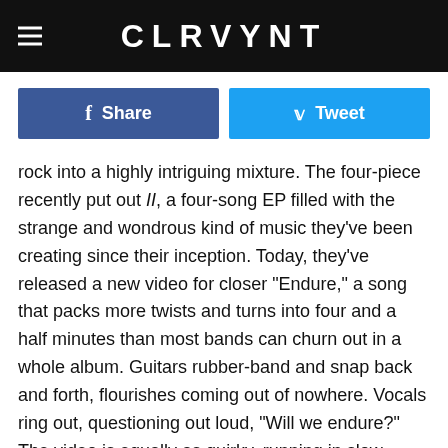CLRVYNT
Share
Tweet
rock into a highly intriguing mixture. The four-piece recently put out II, a four-song EP filled with the strange and wondrous kind of music they've been creating since their inception. Today, they've released a new video for closer "Endure," a song that packs more twists and turns into four and a half minutes than most bands can churn out in a whole album. Guitars rubber-band and snap back and forth, flourishes coming out of nowhere. Vocals ring out, questioning out loud, "Will we endure?" The video is equally as quirky, running in slow motion through a seemingly mundane day before ending with some pretty crazy ritual light dancing. You'll have to see it for yourself.